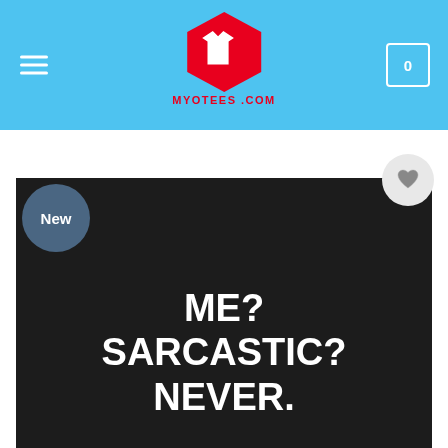MYOTEES.COM
[Figure (photo): Black t-shirt with white bold text reading 'ME? SARCASTIC? NEVER.' laid flat on a gray surface. Product listing image from myotees.com with a 'New' badge on the top-left and a heart/wishlist button on the top-right.]